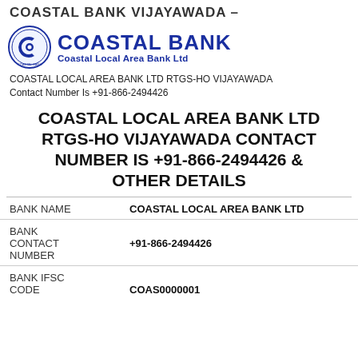COASTAL BANK VIJAYAWADA –
[Figure (logo): Coastal Bank logo with circular emblem and text 'COASTAL BANK Coastal Local Area Bank Ltd']
COASTAL LOCAL AREA BANK LTD RTGS-HO VIJAYAWADA
Contact Number Is +91-866-2494426
COASTAL LOCAL AREA BANK LTD RTGS-HO VIJAYAWADA CONTACT NUMBER IS +91-866-2494426 & OTHER DETAILS
| Field | Value |
| --- | --- |
| BANK NAME | COASTAL LOCAL AREA BANK LTD |
| BANK
CONTACT
NUMBER | +91-866-2494426 |
| BANK IFSC
CODE | COAS0000001 |